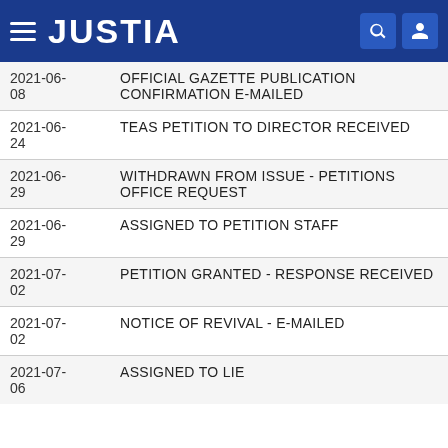JUSTIA
| Date | Event |
| --- | --- |
| 2021-06-08 | OFFICIAL GAZETTE PUBLICATION CONFIRMATION E-MAILED |
| 2021-06-24 | TEAS PETITION TO DIRECTOR RECEIVED |
| 2021-06-29 | WITHDRAWN FROM ISSUE - PETITIONS OFFICE REQUEST |
| 2021-06-29 | ASSIGNED TO PETITION STAFF |
| 2021-07-02 | PETITION GRANTED - RESPONSE RECEIVED |
| 2021-07-02 | NOTICE OF REVIVAL - E-MAILED |
| 2021-07-06 | ASSIGNED TO LIE |